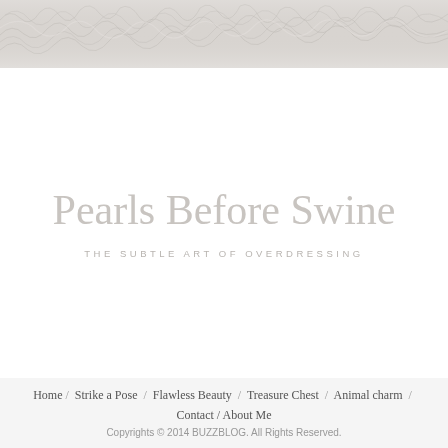[Figure (photo): Header banner showing a close-up fur texture in light gray/white tones]
Pearls Before Swine
THE SUBTLE ART OF OVERDRESSING
Home / Strike a Pose / Flawless Beauty / Treasure Chest / Animal charm / Contact / About Me
Copyrights © 2014 BUZZBLOG. All Rights Reserved.